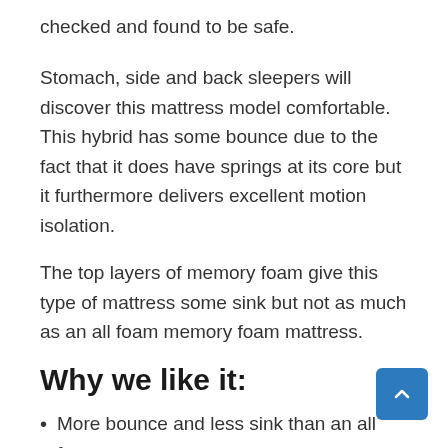checked and found to be safe.
Stomach, side and back sleepers will discover this mattress model comfortable. This hybrid has some bounce due to the fact that it does have springs at its core but it furthermore delivers excellent motion isolation.
The top layers of memory foam give this type of mattress some sink but not as much as an all foam memory foam mattress.
Why we like it:
More bounce and less sink than an all foam